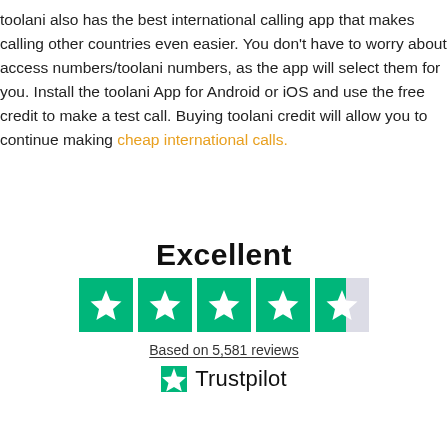toolani also has the best international calling app that makes calling other countries even easier. You don't have to worry about access numbers/toolani numbers, as the app will select them for you. Install the toolani App for Android or iOS and use the free credit to make a test call. Buying toolani credit will allow you to continue making cheap international calls.
[Figure (other): Trustpilot rating widget showing 'Excellent' with 4.5 stars out of 5, based on 5,581 reviews, with Trustpilot logo]